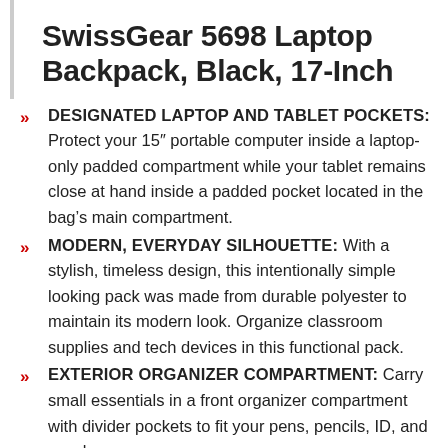SwissGear 5698 Laptop Backpack, Black, 17-Inch
DESIGNATED LAPTOP AND TABLET POCKETS: Protect your 15″ portable computer inside a laptop-only padded compartment while your tablet remains close at hand inside a padded pocket located in the bag’s main compartment.
MODERN, EVERYDAY SILHOUETTE: With a stylish, timeless design, this intentionally simple looking pack was made from durable polyester to maintain its modern look. Organize classroom supplies and tech devices in this functional pack.
EXTERIOR ORGANIZER COMPARTMENT: Carry small essentials in a front organizer compartment with divider pockets to fit your pens, pencils, ID, and snacks
COMFORT: Featuring signature contoured,